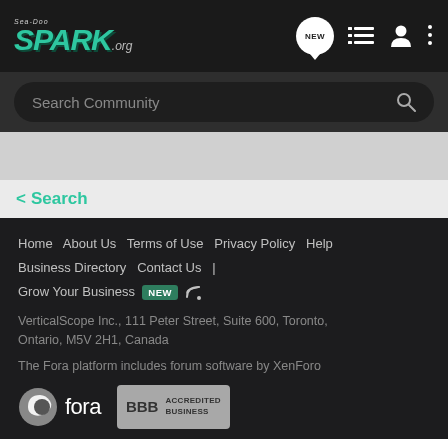[Figure (logo): Sea-Doo Spark.org logo in teal/green italic bold text with small text above]
Navigation icons: NEW bubble, list icon, user icon, more options icon
Search Community
Search
Home  About Us  Terms of Use  Privacy Policy  Help  Business Directory  Contact Us  |  Grow Your Business  NEW  (rss)
VerticalScope Inc., 111 Peter Street, Suite 600, Toronto, Ontario, M5V 2H1, Canada
The Fora platform includes forum software by XenForo
[Figure (logo): Fora logo (circle icon + fora text) and BBB Accredited Business badge]